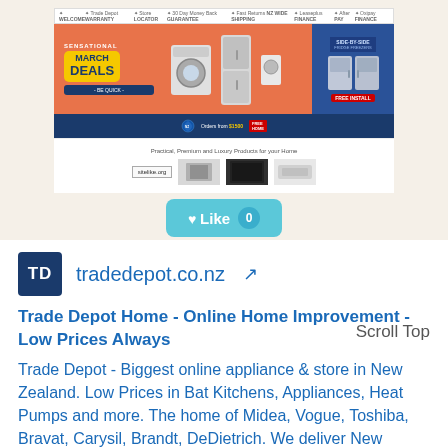[Figure (screenshot): Screenshot of tradedepot.co.nz website showing a banner with 'Sensational March Deals - Be Quick' promotion, appliances images, side-by-side fridge section, product thumbnails, sitelike.org label, and a Like button with count 0]
tradedepot.co.nz
Trade Depot Home - Online Home Improvement - Low Prices Always
Trade Depot - Biggest online appliance & store in New Zealand. Low Prices in Bat Kitchens, Appliances, Heat Pumps and more. The home of Midea, Vogue, Toshiba, Bravat, Carysil, Brandt, DeDietrich. We deliver New Zealand wide. Shop online.
Scroll Top